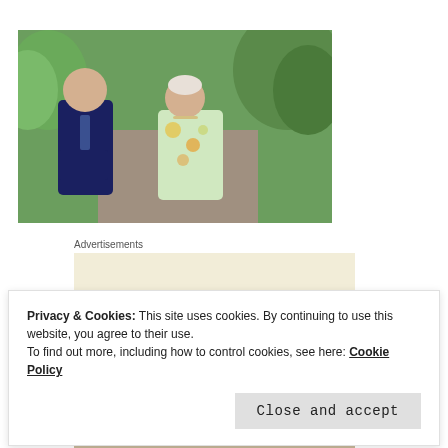[Figure (photo): Two people walking in a park — an older man in a dark suit with a floral tie laughing, and an older woman in a floral light green/yellow dress smiling, with green trees in the background.]
Advertisements
[Figure (infographic): Advertisement box with cream/beige background containing large serif text reading 'Professionally']
Privacy & Cookies: This site uses cookies. By continuing to use this website, you agree to their use.
To find out more, including how to control cookies, see here: Cookie Policy
Close and accept
[Figure (photo): Partial view of food items at the bottom of the page, partially obscured.]